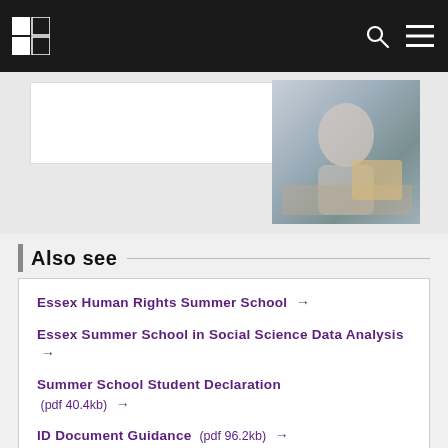[Figure (screenshot): University website navigation bar with black background, white checkerboard logo, search icon and hamburger menu icon]
[Figure (photo): A student viewed from behind, sitting at a desk with papers and a cardboard box, in an outdoor or well-lit setting]
Also see
Essex Human Rights Summer School →
Essex Summer School in Social Science Data Analysis →
Summer School Student Declaration (pdf 40.4kb) →
ID Document Guidance (pdf 96.2kb) →